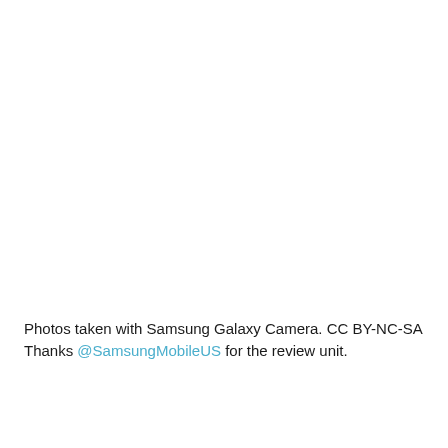Photos taken with Samsung Galaxy Camera. CC BY-NC-SA Thanks @SamsungMobileUS for the review unit.